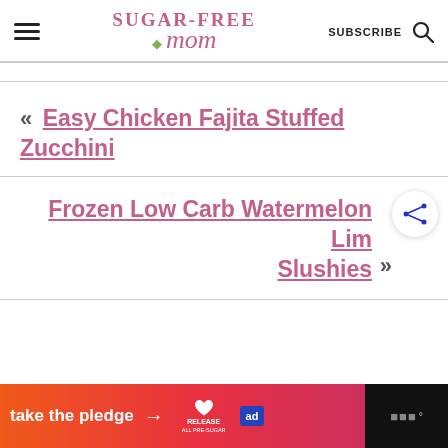Sugar-Free Mom — SUBSCRIBE
« Easy Chicken Fajita Stuffed Zucchini
Frozen Low Carb Watermelon Lim Slushies »
[Figure (screenshot): Advertisement banner: 'take the pledge' with arrow, Release logo, ad badge, and weather service logo on dark background]